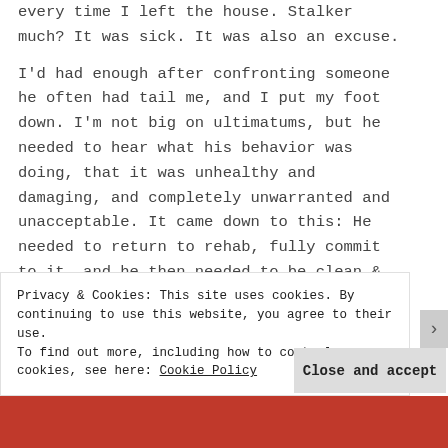every time I left the house. Stalker much? It was sick. It was also an excuse.
I'd had enough after confronting someone he often had tail me, and I put my foot down. I'm not big on ultimatums, but he needed to hear what his behavior was doing, that it was unhealthy and damaging, and completely unwarranted and unacceptable. It came down to this: He needed to return to rehab, fully commit to it, and he then needed to be clean & sober for a year before I would agree to marriage. It was high time for him to prove that he was worthy of me, not
Privacy & Cookies: This site uses cookies. By continuing to use this website, you agree to their use.
To find out more, including how to control cookies, see here: Cookie Policy
Close and accept